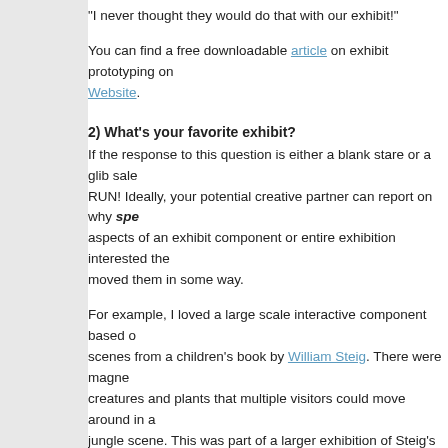“I never thought they would do that with our exhibit!”
You can find a free downloadable article on exhibit prototyping on Website.
2) What’s your favorite exhibit?
If the response to this question is either a blank stare or a glib sale… RUN! Ideally, your potential creative partner can report on why specific aspects of an exhibit component or entire exhibition interested them or moved them in some way.
For example, I loved a large scale interactive component based on scenes from a children’s book by William Steig. There were magnetic creatures and plants that multiple visitors could move around in a jungle scene. This was part of a larger exhibition of Steig’s drawings at a normally “hands-off” museum, The Jewish Museum in Manhattan. It was clear through this area, and a few other places in the Steig exhibition, the designers wanted to provide some colorful, open-ended experiences for families.
3) Will you let us directly pay subcontractors?